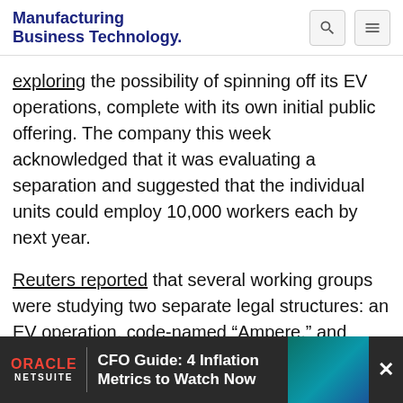Manufacturing Business Technology
exploring the possibility of spinning off its EV operations, complete with its own initial public offering. The company this week acknowledged that it was evaluating a separation and suggested that the individual units could employ 10,000 workers each by next year.
Reuters reported that several working groups were studying two separate legal structures: an EV operation, code-named "Ampere," and "Horse," which would comprise its gas-powered and hybrid cars. The EV jobs would be located in the company's native France, while the internal combu... elsewh...
[Figure (infographic): Oracle NetSuite advertisement banner: CFO Guide: 4 Inflation Metrics to Watch Now]